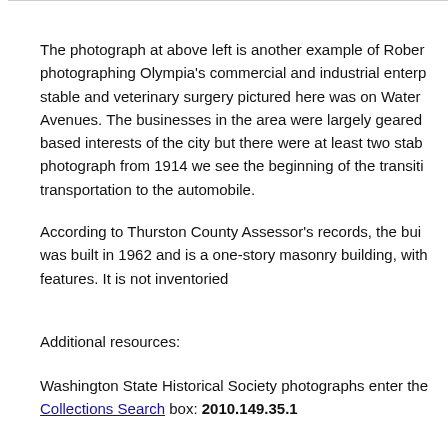The photograph at above left is another example of Rober photographing Olympia's commercial and industrial enterp stable and veterinary surgery pictured here was on Water Avenues. The businesses in the area were largely geared based interests of the city but there were at least two stab photograph from 1914 we see the beginning of the transiti transportation to the automobile.
According to Thurston County Assessor's records, the bui was built in 1962 and is a one-story masonry building, with features. It is not inventoried
Additional resources:
Washington State Historical Society photographs enter the Collections Search box: 2010.149.35.1